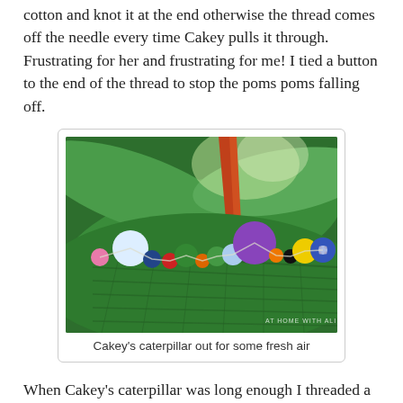cotton and knot it at the end otherwise the thread comes off the needle every time Cakey pulls it through. Frustrating for her and frustrating for me! I tied a button to the end of the thread to stop the poms poms falling off.
[Figure (photo): Colorful pom-pom caterpillar resting on a large green tropical leaf, with various colored pom-poms (white, pink, green, red, orange, purple, yellow, blue, black) strung together. Watermark reads 'AT HOME WITH ALI'.]
Cakey's caterpillar out for some fresh air
When Cakey's caterpillar was long enough I threaded a button (for a mouth) on the end and tied it off for her. I left a loose piece of cotton so that she could pull the caterpillar around behind her. I made a caterpillar for Boo and stuck